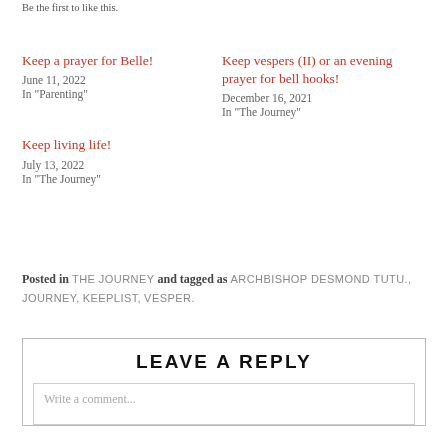Be the first to like this.
Keep a prayer for Belle!
June 11, 2022
In "Parenting"
Keep vespers (II) or an evening prayer for bell hooks!
December 16, 2021
In "The Journey"
Keep living life!
July 13, 2022
In "The Journey"
Posted in THE JOURNEY and tagged as ARCHBISHOP DESMOND TUTU., JOURNEY, KEEPLIST, VESPER.
LEAVE A REPLY
Write a comment...